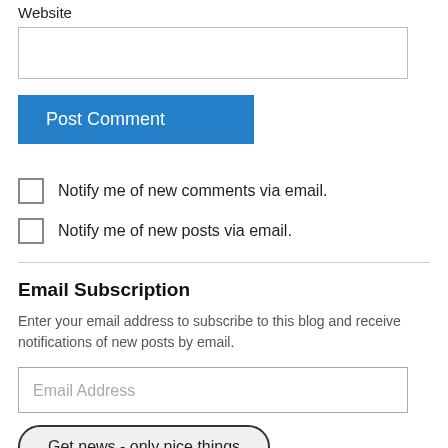Website
Post Comment
Notify me of new comments via email.
Notify me of new posts via email.
Email Subscription
Enter your email address to subscribe to this blog and receive notifications of new posts by email.
Email Address
Get news - only nice things